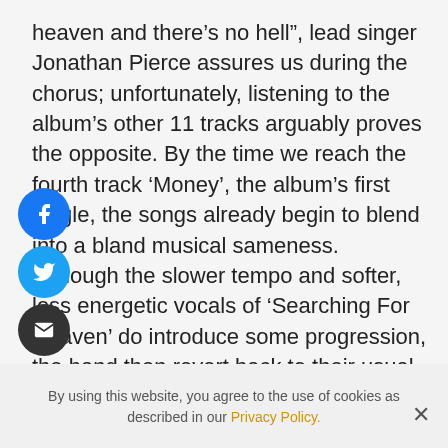heaven and there's no hell", lead singer Jonathan Pierce assures us during the chorus; unfortunately, listening to the album's other 11 tracks arguably proves the opposite. By the time we reach the fourth track 'Money', the album's first single, the songs already begin to blend into a bland musical sameness. Although the slower tempo and softer, less energetic vocals of 'Searching For Heaven' do introduce some progression, the band then revert back to their usual quick, poppy style for
By using this website, you agree to the use of cookies as described in our Privacy Policy.